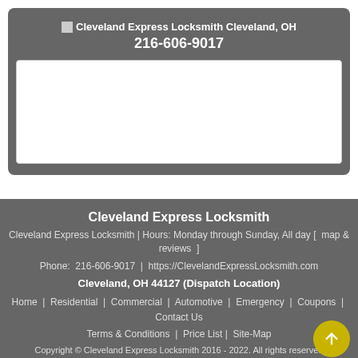Cleveland Express Locksmith Cleveland, OH 216-606-9017
[Figure (screenshot): White empty rectangular box (possibly a map or image placeholder)]
Cleveland Express Locksmith
Cleveland Express Locksmith | Hours: Monday through Sunday, All day [  map & reviews  ]
Phone:  216-606-9017  |  https://ClevelandExpressLocksmith.com
Cleveland, OH 44127 (Dispatch Location)
Home  |  Residential  |  Commercial  |  Automotive  |  Emergency  |  Coupons  |  Contact Us
Terms & Conditions  |  Price List |  Site-Map
Copyright © Cleveland Express Locksmith 2016 - 2022. All rights reserved